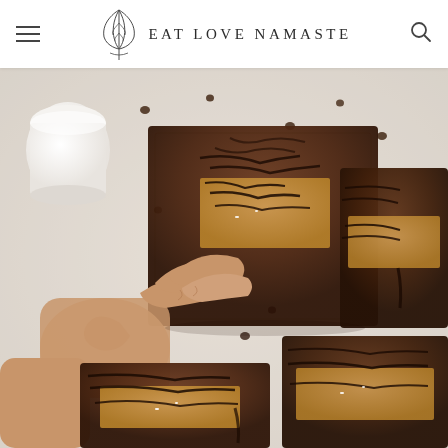EAT LOVE NAMASTE
[Figure (photo): Overhead/close-up food photo of chocolate brownies with caramel and chocolate drizzle on parchment paper, with a glass of milk on the side and a hand reaching for a brownie. Small chocolate chips scattered around.]